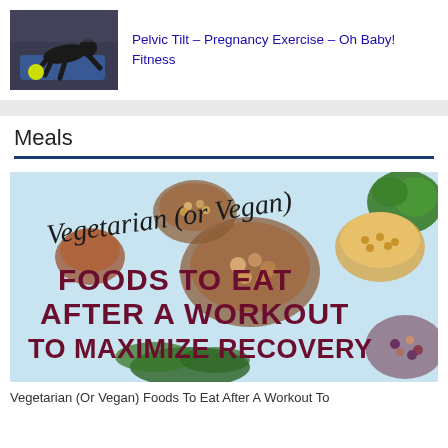[Figure (photo): Thumbnail photo of a pregnant woman doing a pelvic tilt exercise on a blue yoga mat on all fours, with a yellow exercise ball nearby, in a gym setting]
Pelvic Tilt – Pregnancy Exercise – Oh Baby! Fitness
Meals
[Figure (photo): Infographic image with a light blue background showing various vegetarian/vegan foods (nuts, legumes, grains, broccoli, spinach, chickpeas, mixed beans) arranged around text that reads 'Vegetarian (or Vegan)' in handwritten script and 'FOODS TO EAT AFTER A WORKOUT TO MAXIMIZE RECOVERY' in large bold dark maroon/burgundy letters]
Vegetarian (Or Vegan) Foods To Eat After A Workout To